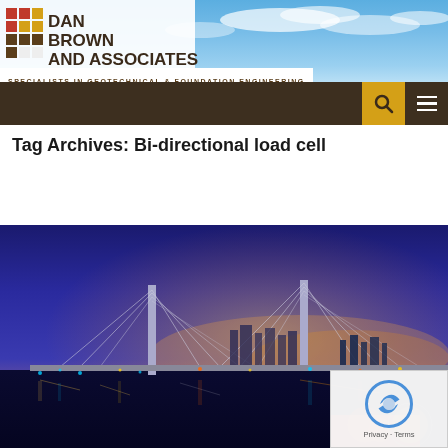[Figure (logo): Dan Brown and Associates logo with colored grid squares and company name]
SPECIALISTS IN GEOTECHNICAL & FOUNDATION ENGINEERING
Tag Archives: Bi-directional load cell
[Figure (photo): Night aerial photo of a cable-stayed bridge over water with city lights in the background]